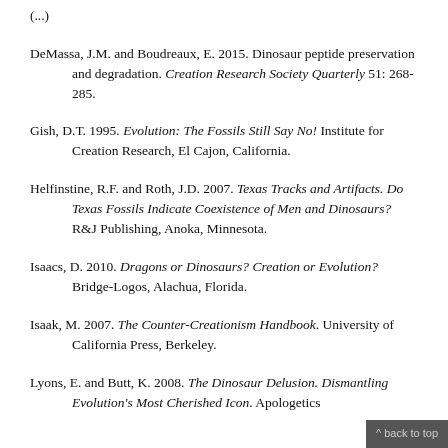(...)
DeMassa, J.M. and Boudreaux, E. 2015. Dinosaur peptide preservation and degradation. Creation Research Society Quarterly 51: 268-285.
Gish, D.T. 1995. Evolution: The Fossils Still Say No! Institute for Creation Research, El Cajon, California.
Helfinstine, R.F. and Roth, J.D. 2007. Texas Tracks and Artifacts. Do Texas Fossils Indicate Coexistence of Men and Dinosaurs? R&J Publishing, Anoka, Minnesota.
Isaacs, D. 2010. Dragons or Dinosaurs? Creation or Evolution? Bridge-Logos, Alachua, Florida.
Isaak, M. 2007. The Counter-Creationism Handbook. University of California Press, Berkeley.
Lyons, E. and Butt, K. 2008. The Dinosaur Delusion. Dismantling Evolution's Most Cherished Icon. Apologetics Press,